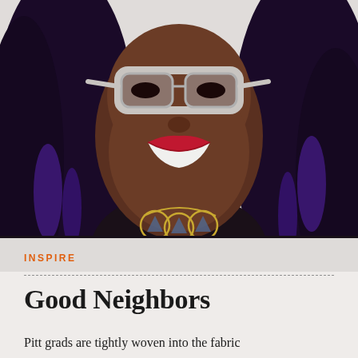[Figure (photo): Portrait photo of a smiling young Black woman with long purple-tipped twist braids, wearing white patterned cat-eye glasses, dark red lipstick, a black sleeveless top, and a gold statement necklace with blue gemstone pendants. Background is light grey/white.]
INSPIRE
Good Neighbors
Pitt grads are tightly woven into the fabric